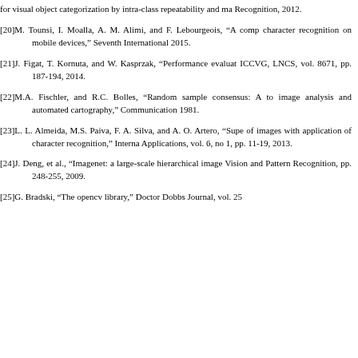for visual object categorization by intra-class repeatability and ma Recognition, 2012.
[20]M. Tounsi, I. Moalla, A. M. Alimi, and F. Lebourgeois, “A comp character recognition on mobile devices,” Seventh International 2015.
[21]J. Figat, T. Kornuta, and W. Kasprzak, “Performance evaluat ICCVG, LNCS, vol. 8671, pp. 187-194, 2014.
[22]M.A. Fischler, and R.C. Bolles, “Random sample consensus: A to image analysis and automated cartography,” Communication 1981.
[23]L. L. Almeida, M.S. Paiva, F. A. Silva, and A. O. Artero, “Supe of images with application of character recognition,” Interna Applications, vol. 6, no 1, pp. 11-19, 2013.
[24]J. Deng, et al., “Imagenet: a large-scale hierarchical image Vision and Pattern Recognition, pp. 248-255, 2009.
[25]G. Bradski, “The opencv library,” Doctor Dobbs Journal, vol. 25